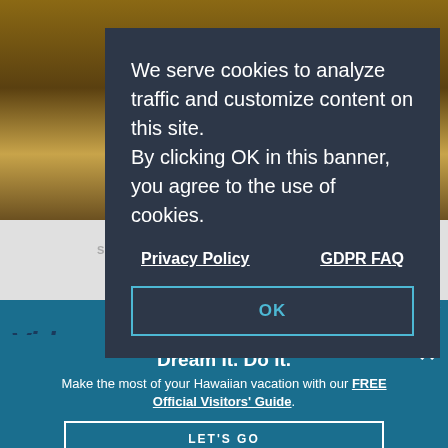[Figure (screenshot): Website screenshot showing a cookie consent banner overlaid on a Hawaii tourism page. Behind the banner: a dark photo at top, a gray search bar area, and a teal promotional section. The cookie banner is a dark charcoal modal with white text. Below: page title 'Video: Discover the Hawaiian Islands' partially visible, and a teal promo strip with 'Dream It. Do it.' headline.]
We serve cookies to analyze traffic and customize content on this site. By clicking OK in this banner, you agree to the use of cookies.
Privacy Policy
GDPR FAQ
OK
SEARCH HAWAII ATTRACTIONS AND ACTIVITIES
BACK TO
Video: Discover the Hawaiian Islands
Dream It. Do it.
Make the most of your Hawaiian vacation with our FREE Official Visitors' Guide.
LET'S GO